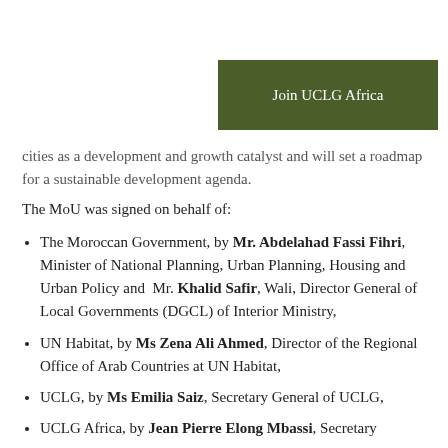[Figure (other): Green button labeled 'Join UCLG Africa']
cities as a development and growth catalyst and will set a roadmap for a sustainable development agenda.
The MoU was signed on behalf of:
The Moroccan Government, by Mr. Abdelahad Fassi Fihri, Minister of National Planning, Urban Planning, Housing and Urban Policy and Mr. Khalid Safir, Wali, Director General of Local Governments (DGCL) of Interior Ministry,
UN Habitat, by Ms Zena Ali Ahmed, Director of the Regional Office of Arab Countries at UN Habitat,
UCLG, by Ms Emilia Saiz, Secretary General of UCLG,
UCLG Africa, by Jean Pierre Elong Mbassi, Secretary